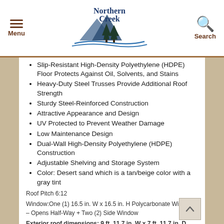Menu | Northern Creek | Search
Slip-Resistant High-Density Polyethylene (HDPE) Floor Protects Against Oil, Solvents, and Stains
Heavy-Duty Steel Trusses Provide Additional Roof Strength
Sturdy Steel-Reinforced Construction
Attractive Appearance and Design
UV Protected to Prevent Weather Damage
Low Maintenance Design
Dual-Wall High-Density Polyethylene (HDPE) Construction
Adjustable Shelving and Storage System
Color: Desert sand which is a tan/beige color with a gray tint
Roof Pitch 6:12
Window:One (1) 16.5 in. W x 16.5 in. H Polycarbonate Window – Opens Half-Way + Two (2) Side Window
Exterior roof dimensions: 9 ft. 11.7 in. W x 7 ft. 11.7 in. D